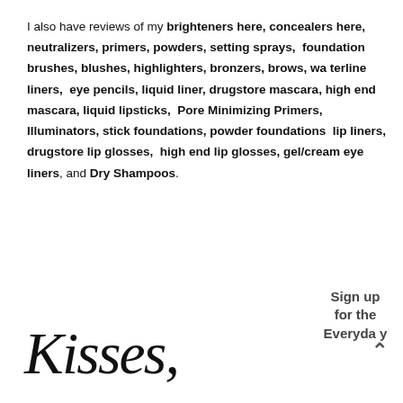I also have reviews of my brighteners here, concealers here, neutralizers, primers, powders, setting sprays, foundation brushes, blushes, highlighters, bronzers, brows, waterline liners, eye pencils, liquid liner, drugstore mascara, high end mascara, liquid lipsticks, Pore Minimizing Primers, Illuminators, stick foundations, powder foundations lip liners, drugstore lip glosses, high end lip glosses, gel/cream eye liners, and Dry Shampoos.
Sign up for the Everyday
[Figure (illustration): Cursive handwritten text reading 'Kisses,' in black ink script]